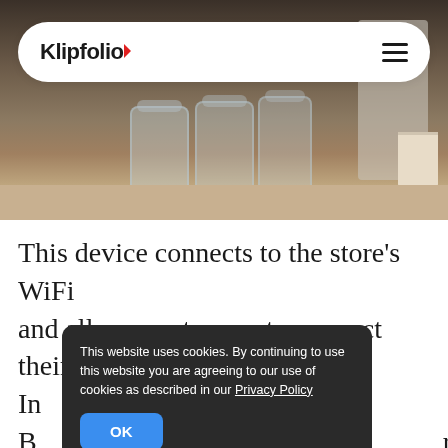[Figure (photo): Interior of a cafe or coffee shop counter showing glass jars with lids, a machine on the right, and a cup, with dark background]
Klipfolio
This device connects to the store's WiFi and allows customers to connect their In... WiFi. B... rvice a... e numbers go up in real-time when
This website uses cookies. By continuing to use this website you are agreeing to our use of cookies as described in our Privacy Policy
OK